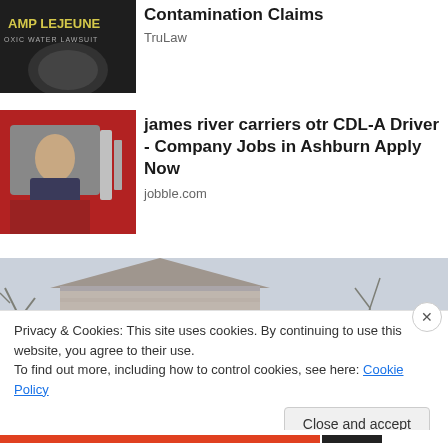[Figure (photo): Camp Lejeune Toxic Water Lawsuit advertisement image with dark background and circular water imagery]
Contamination Claims
TruLaw
[Figure (photo): Female truck driver smiling in cab of red semi truck]
james river carriers otr CDL-A Driver - Company Jobs in Ashburn Apply Now
jobble.com
[Figure (photo): Suburban house exterior with bare trees in winter/overcast conditions]
Privacy & Cookies: This site uses cookies. By continuing to use this website, you agree to their use.
To find out more, including how to control cookies, see here: Cookie Policy
Close and accept